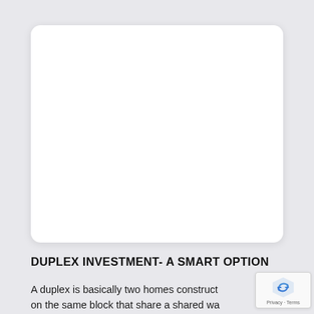[Figure (other): White rounded rectangle card, blank image placeholder area]
DUPLEX INVESTMENT- A SMART OPTION
A duplex is basically two homes constructed on the same block that share a shared wall but have distinct, individual entranceways.